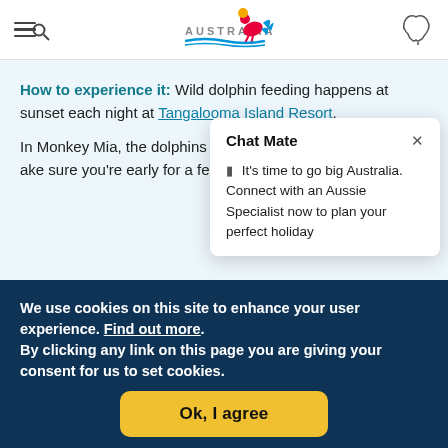[Figure (logo): Tourism Australia logo with stylized bird/kangaroo in red, yellow, blue and text AUSTRALIA]
How to experience it: Wild dolphin feeding happens at sunset each night at Tangalooma Island Resort. In Monkey Mia, the dolp... three times a day, but m... for a feeding.
[Figure (screenshot): Chat Mate popup overlay with text: It's time to go big Australia. Connect with an Aussie Specialist now to plan your perfect holiday]
We use cookies on this site to enhance your user experience. Find out more. By clicking any link on this page you are giving your consent for us to set cookies.
Ok, I agree